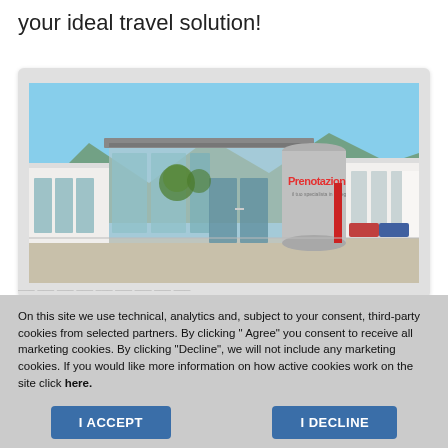your ideal travel solution!
[Figure (photo): Exterior photo of a Prenotazioni24.it travel agency building with large glass windows and a cylindrical corner with the company logo on top. Blue sky in background with mountains visible.]
On this site we use technical, analytics and, subject to your consent, third-party cookies from selected partners. By clicking " Agree" you consent to receive all marketing cookies. By clicking "Decline", we will not include any marketing cookies. If you would like more information on how active cookies work on the site click here.
I ACCEPT
I DECLINE